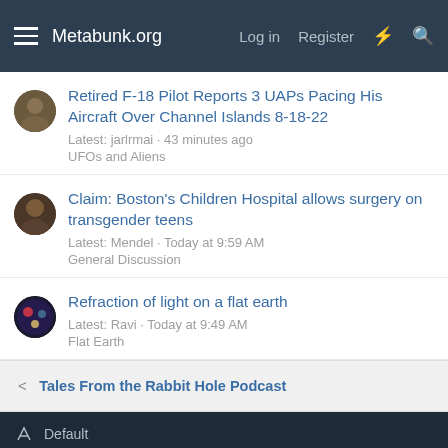Metabunk.org  Log in  Register
Retired F-18 Pilot Reports 3 UAPs Pacing His Aircraft Over Channel Islands 8-18-22
Latest: jarlrmai · 43 minutes ago
UFOs and Aliens
Claim: Boston's Children Hospital allows surgery on transgender teens
Latest: Mendel · Today at 9:59 AM
General Discussion
Refraction of light on a flat earth
Latest: Ravi · Today at 9:49 AM
Flat Earth
< Tales From the Rabbit Hole Podcast
Default
Contact us  Terms and rules  Privacy policy  Help  [RSS]
Community platform by XenForo® © 2010-2022 XenForo Ltd.
XenPorta 2 PRO © Jason Axelrod of 8WAYRUN